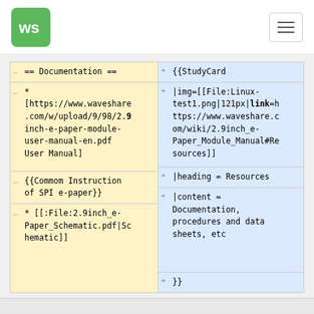[Figure (logo): Waveshare green logo with 'ws' letters on green rounded square background]
== Documentation ==
* [https://www.waveshare.com/w/upload/9/98/2.9inch-e-paper-module-user-manual-en.pdf User Manual]
{{Commom Instruction of SPI e-paper}}
* [[:File:2.9inch_e-Paper_Schematic.pdf|Schematic]]
+{{StudyCard
|img=[[File:Linux-test1.png|121px|link=https://www.waveshare.com/wiki/2.9inch_e-Paper_Module_Manual#Resources]]
|heading = Resources
|content = Documentation, procedures and data sheets, etc
+}}